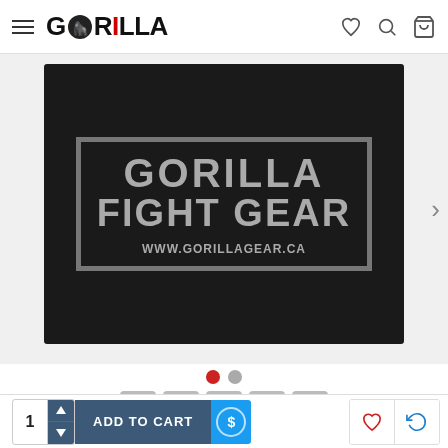Gorilla Fight Gear - navigation bar with logo, hamburger menu, wishlist, search, and cart icons
[Figure (photo): Black towel/banner with text GORILLA FIGHT GEAR and website URL www.gorillagear.ca in grey letters, shown at an angle on a white background. Next arrow visible on right side.]
• • (carousel dots - red and gray)
Social share buttons: Facebook, Twitter, Pinterest, Email, More
☆☆☆☆☆ Based on 0 reviews. - Write a review
1 [quantity selector] ADD TO CART [$] [heart icon] [refresh icon]